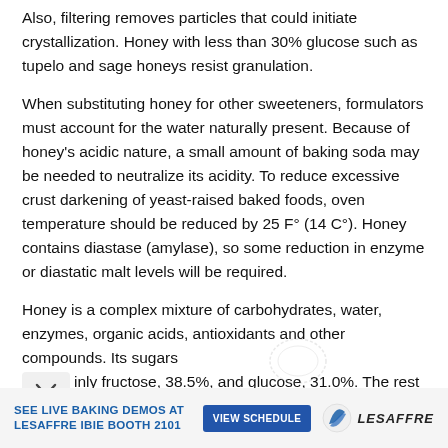Also, filtering removes particles that could initiate crystallization. Honey with less than 30% glucose such as tupelo and sage honeys resist granulation.
When substituting honey for other sweeteners, formulators must account for the water naturally present. Because of honey's acidic nature, a small amount of baking soda may be needed to neutralize its acidity. To reduce excessive crust darkening of yeast-raised baked foods, oven temperature should be reduced by 25 F° (14 C°). Honey contains diastase (amylase), so some reduction in enzyme or diastatic malt levels will be required.
Honey is a complex mixture of carbohydrates, water, enzymes, organic acids, antioxidants and other compounds. Its sugars [mainly] fructose, 38.5%, and glucose, 31.0%. The rest is
[Figure (infographic): Advertisement banner for Lesaffre IBIE Booth 2101 with text 'SEE LIVE BAKING DEMOS AT LESAFFRE IBIE BOOTH 2101', a blue 'VIEW SCHEDULE' button, and the Lesaffre logo.]